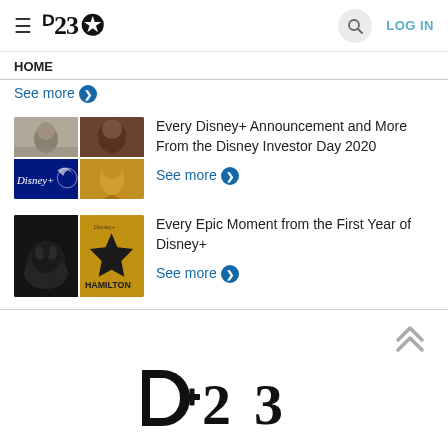D23 — HOME
See more ❯
[Figure (photo): Collage of Disney+ show thumbnails: black-and-white film stills, a character, Disney+ logo panel, and blonde character]
Every Disney+ Announcement and More From the Disney Investor Day 2020
See more ❯
[Figure (photo): Collage: Baby Yoda (Grogu) from The Mandalorian and Hamilton musical poster]
Every Epic Moment from the First Year of Disney+
See more ❯
[Figure (logo): Large D23 logo at bottom of page]